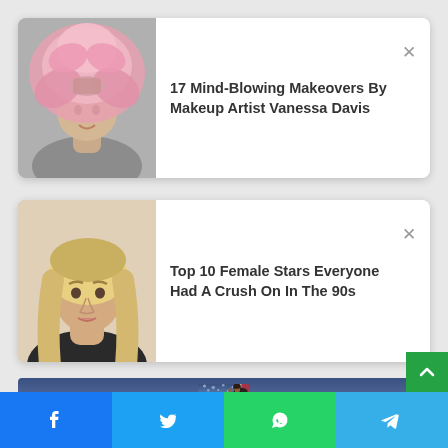[Figure (screenshot): Card with thumbnail of person in pink feathered headdress and title '17 Mind-Blowing Makeovers By Makeup Artist Vanessa Davis' with X close button]
[Figure (screenshot): Card with thumbnail of blonde woman and title 'Top 10 Female Stars Everyone Had A Crush On In The 90s' with X close button]
[Figure (photo): Photo of a woman speaking into a microphone in front of an American flag background]
[Figure (infographic): Social media share bar with Facebook, Twitter, WhatsApp, and Telegram buttons at bottom of page]